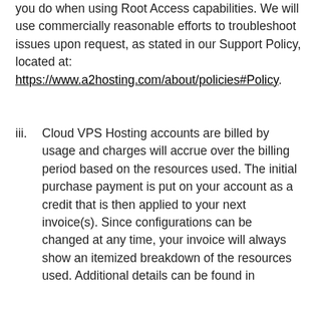you do when using Root Access capabilities. We will use commercially reasonable efforts to troubleshoot issues upon request, as stated in our Support Policy, located at: https://www.a2hosting.com/about/policies#Policy.
iii. Cloud VPS Hosting accounts are billed by usage and charges will accrue over the billing period based on the resources used. The initial purchase payment is put on your account as a credit that is then applied to your next invoice(s). Since configurations can be changed at any time, your invoice will always show an itemized breakdown of the resources used. Additional details can be found in